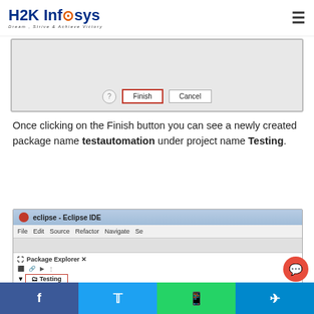H2K Infosys — Dream, Strive & Achieve Victory
[Figure (screenshot): Dialog box showing Finish and Cancel buttons, with a help icon on the left. Finish button has a red border highlight.]
Once clicking on the Finish button you can see a newly created package name testautomation under project name Testing.
[Figure (screenshot): Eclipse IDE window showing Package Explorer with Testing project (highlighted in red) containing JRE System Library [JavaSE-1.8], src folder, and testautomation package (highlighted in red).]